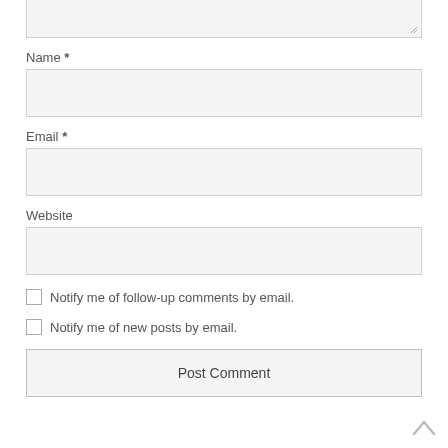[Figure (screenshot): Partial textarea input box at top of page]
Name *
[Figure (screenshot): Name input text field]
Email *
[Figure (screenshot): Email input text field]
Website
[Figure (screenshot): Website input text field]
Notify me of follow-up comments by email.
Notify me of new posts by email.
Post Comment